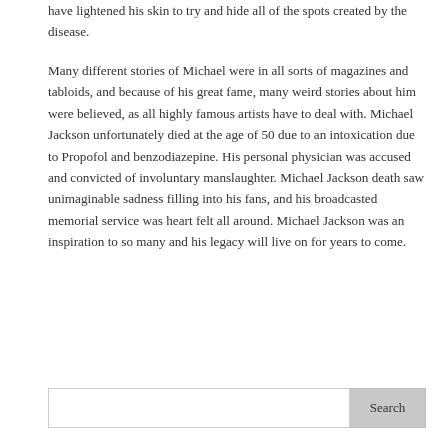have lightened his skin to try and hide all of the spots created by the disease.
Many different stories of Michael were in all sorts of magazines and tabloids, and because of his great fame, many weird stories about him were believed, as all highly famous artists have to deal with. Michael Jackson unfortunately died at the age of 50 due to an intoxication due to Propofol and benzodiazepine. His personal physician was accused and convicted of involuntary manslaughter. Michael Jackson death saw unimaginable sadness filling into his fans, and his broadcasted memorial service was heart felt all around. Michael Jackson was an inspiration to so many and his legacy will live on for years to come.